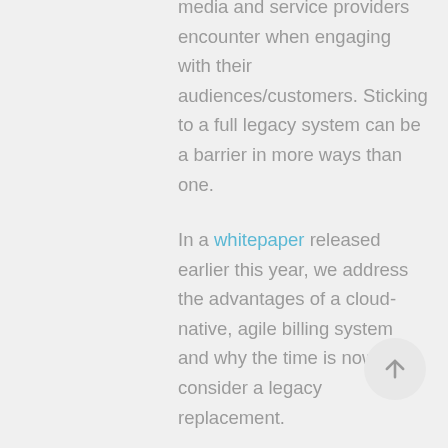media and service providers encounter when engaging with their audiences/customers. Sticking to a full legacy system can be a barrier in more ways than one.
In a whitepaper released earlier this year, we address the advantages of a cloud-native, agile billing system and why the time is now to consider a legacy replacement.